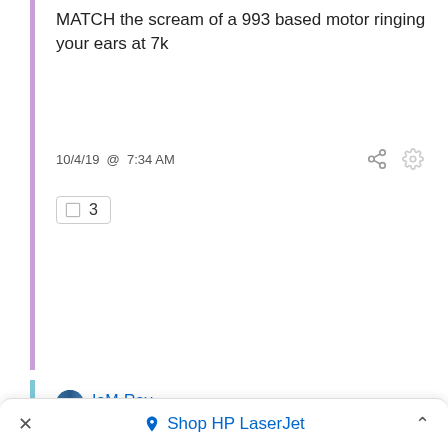MATCH the scream of a 993 based motor ringing your ears at 7k
10/4/19 @ 7:34 AM
3
IaM-Ray
P tax continues, parts cost and work required sends most engine rebuilds into the statosphere. I have a P mechanic that spent last winter doing engines and he was telling me there was 30K in parts for one engine and he had really done nothing to it and labor was on top of that. Fast becoming a land not for the mere mortal. 🙂
Shop HP LaserJet